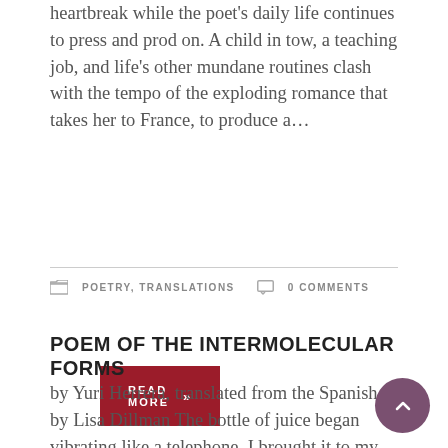heartbreak while the poet's daily life continues to press and prod on. A child in tow, a teaching job, and life's other mundane routines clash with the tempo of the exploding romance that takes her to France, to produce a…
READ MORE »
POETRY, TRANSLATIONS   0 COMMENTS
POEM OF THE INTERMOLECULAR FORMS
by Yuri Herrera, translated from the Spanish by Lisa Dillman The bottle of juice began vibrating like a telephone. I brought it to my ear and heard nothing, then came a riiing riiing, tho more like a deep gravelly